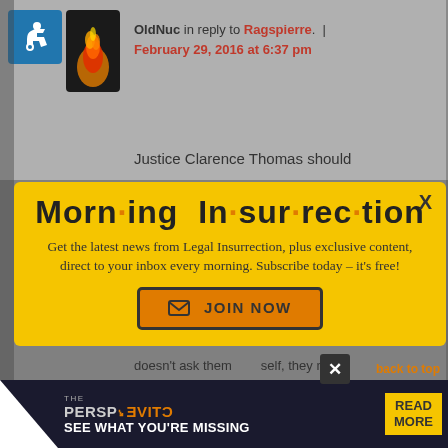[Figure (screenshot): User avatar icons: wheelchair accessibility icon on blue background and flame/fire avatar on dark background]
OldNuc in reply to Ragspierre. | February 29, 2016 at 6:37 pm
Justice Clarence Thomas should
[Figure (infographic): Morning Insurrection newsletter signup modal popup with yellow background. Title reads 'Morn·ing In·sur·rec·tion' in large bold black text with orange dots. Body text: 'Get the latest news from Legal Insurrection, plus exclusive content, direct to your inbox every morning. Subscribe today – it's free!' with an orange JOIN NOW button with envelope icon. X close button in top right corner.]
doesn't ask them himself, they might not get asked at all. So rather than
[Figure (screenshot): Ad banner: THE PERSPECTIVE - SEE WHAT YOU'RE MISSING with READ MORE button in yellow]